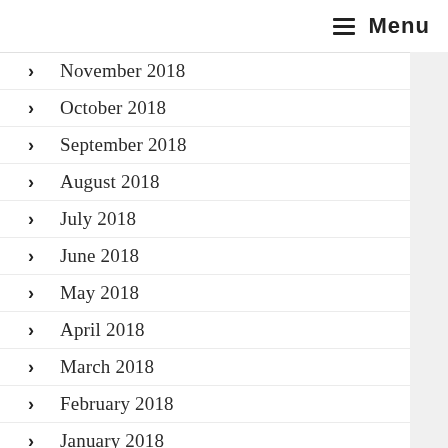Menu
November 2018
October 2018
September 2018
August 2018
July 2018
June 2018
May 2018
April 2018
March 2018
February 2018
January 2018